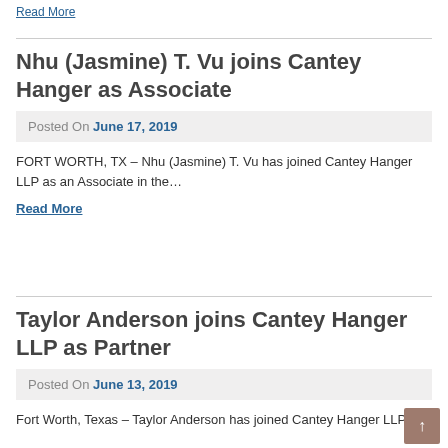Read More
Nhu (Jasmine) T. Vu joins Cantey Hanger as Associate
Posted On June 17, 2019
FORT WORTH, TX – Nhu (Jasmine) T. Vu has joined Cantey Hanger LLP as an Associate in the…
Read More
Taylor Anderson joins Cantey Hanger LLP as Partner
Posted On June 13, 2019
Fort Worth, Texas – Taylor Anderson has joined Cantey Hanger LLP